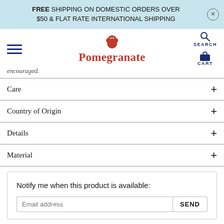FREE SHIPPING ON DOMESTIC ORDERS OVER $50 & FLAT RATE INTERNATIONAL SHIPPING
[Figure (logo): Pomegranate logo with pomegranate fruit icon in red above the word Pomegranate in red serif font]
encouraged.
Care +
Country of Origin +
Details +
Material +
Notify me when this product is available:
Email address  SEND